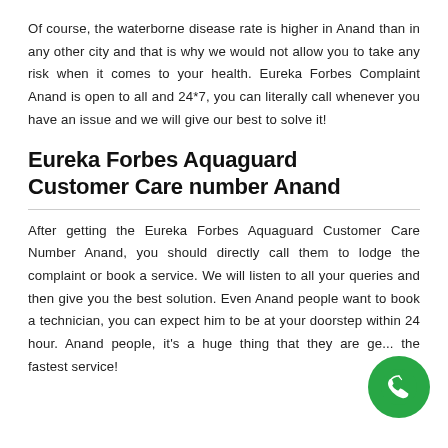Of course, the waterborne disease rate is higher in Anand than in any other city and that is why we would not allow you to take any risk when it comes to your health. Eureka Forbes Complaint Anand is open to all and 24*7, you can literally call whenever you have an issue and we will give our best to solve it!
Eureka Forbes Aquaguard Customer Care number Anand
After getting the Eureka Forbes Aquaguard Customer Care Number Anand, you should directly call them to lodge the complaint or book a service. We will listen to all your queries and then give you the best solution. Even Anand people want to book a technician, you can expect him to be at your doorstep within 24 hour. Anand people, it's a huge thing that they are getting the fastest service!